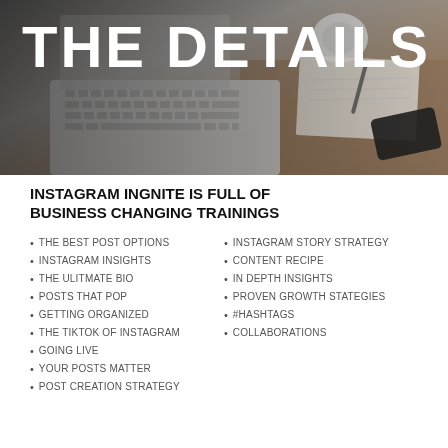[Figure (photo): Hero image of a desk with laptop keyboard, smartphone, notebook, and coffee mug in grayscale tones with 'THE DETAILS' text overlay]
THE DETAILS
INSTAGRAM INGNITE IS FULL OF BUSINESS CHANGING TRAININGS
THE BEST POST OPTIONS
INSTAGRAM INSIGHTS
THE ULITMATE BIO
POSTS THAT POP
GETTING ORGANIZED
THE TIKTOK OF INSTAGRAM
GOING LIVE
YOUR POSTS MATTER
POST CREATION STRATEGY
INSTAGRAM STORY STRATEGY
CONTENT RECIPE
IN DEPTH INSIGHTS
PROVEN GROWTH STATEGIES
#HASHTAGS
COLLABORATIONS